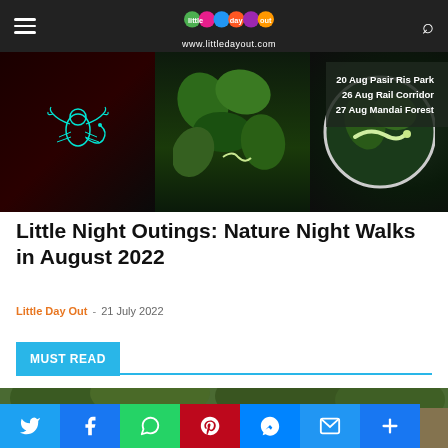little day out — www.littledayout.com
[Figure (photo): Hero image showing three panels: a glowing scorpion on red background (left), tropical plants with a small snake visible (middle), and a circular magnified view of a white snake on green leaves with date text overlay showing '20 Aug Pasir Ris Park, 26 Aug Rail Corridor, 27 Aug Mandai Forest' (right)]
Little Night Outings: Nature Night Walks in August 2022
Little Day Out  -  21 July 2022
MUST READ
[Figure (photo): A forested path or rocky terrain with dense green trees and vegetation, partially visible at bottom of page]
Social share buttons: Twitter, Facebook, WhatsApp, Pinterest, Messenger, Email, More